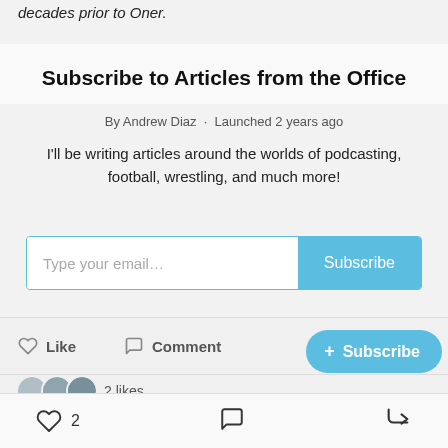decades prior to Oner.
Subscribe to Articles from the Office
By Andrew Diaz · Launched 2 years ago
I'll be writing articles around the worlds of podcasting, football, wrestling, and much more!
Type your email... Subscribe
Like  Comment  + Subscribe
2 likes
♡ 2  ◯  ↪